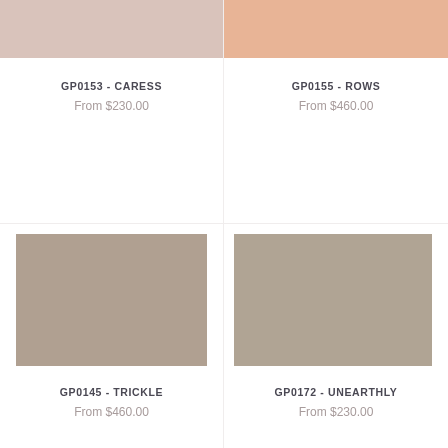[Figure (illustration): Color swatch for GP0153 Caress - dusty rose/pink tone]
GP0153 - CARESS
From $230.00
[Figure (illustration): Color swatch for GP0155 Rows - peach/salmon tone]
GP0155 - ROWS
From $460.00
[Figure (illustration): Color swatch for GP0145 Trickle - warm taupe/greige tone]
GP0145 - TRICKLE
From $460.00
[Figure (illustration): Color swatch for GP0172 Unearthly - warm taupe/brown tone]
GP0172 - UNEARTHLY
From $230.00